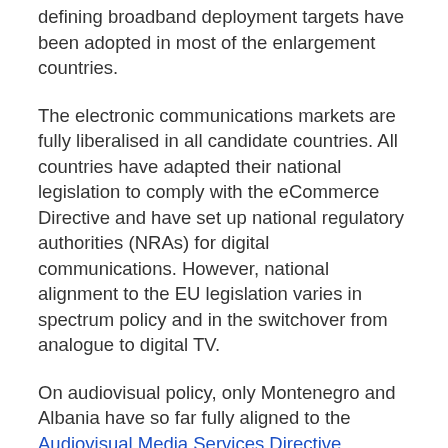defining broadband deployment targets have been adopted in most of the enlargement countries.
The electronic communications markets are fully liberalised in all candidate countries. All countries have adapted their national legislation to comply with the eCommerce Directive and have set up national regulatory authorities (NRAs) for digital communications. However, national alignment to the EU legislation varies in spectrum policy and in the switchover from analogue to digital TV.
On audiovisual policy, only Montenegro and Albania have so far fully aligned to the Audiovisual Media Services Directive. Concerns about freedom of expression and media in the enlargement countries remain, and their status has deteriorated in some countries in recent years.
The amendments to the Turkish internet legislation are of particular concern, as they introduce a set of measures...